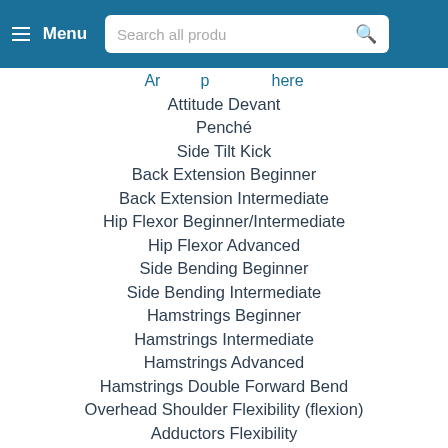Menu | Search all produ
Ar... p... here
Attitude Devant
Penché
Side Tilt Kick
Back Extension Beginner
Back Extension Intermediate
Hip Flexor Beginner/Intermediate
Hip Flexor Advanced
Side Bending Beginner
Side Bending Intermediate
Hamstrings Beginner
Hamstrings Intermediate
Hamstrings Advanced
Hamstrings Double Forward Bend
Overhead Shoulder Flexibility (flexion)
Adductors Flexibility
Glutes & Iliotibial Band
Standing Front Split